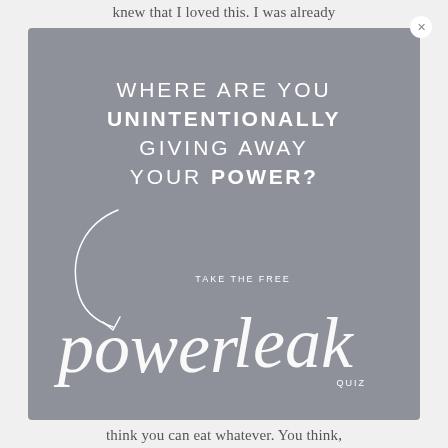knew that I loved this. I was already
[Figure (infographic): Gray square promotional graphic with white text reading 'WHERE ARE YOU UNINTENTIONALLY GIVING AWAY YOUR POWER?' with a decorative arrow and script text reading 'power leak' and 'TAKE THE FREE QUIZ']
think you can eat whatever. You think,